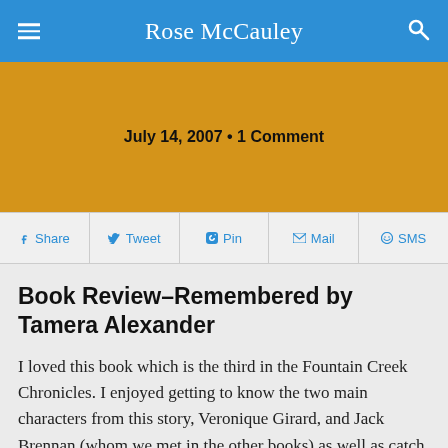Rose McCauley
July 14, 2007 • 1 Comment
Share  Tweet  Pin  Mail  SMS
Book Review–Remembered by Tamera Alexander
I loved this book which is the third in the Fountain Creek Chronicles. I enjoyed getting to know the two main characters from this story, Veronique Girard, and Jack Brennan (whom we met in the other books) as well as catch up on the characters from the